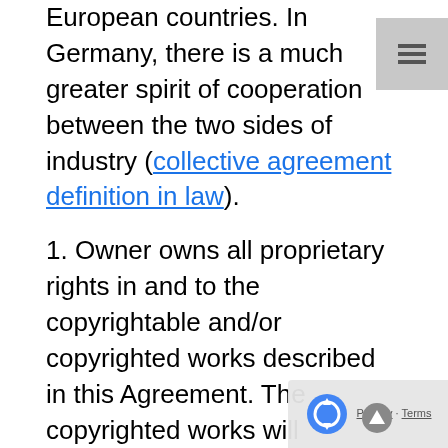European countries. In Germany, there is a much greater spirit of cooperation between the two sides of industry (collective agreement definition in law).
1. Owner owns all proprietary rights in and to the copyrightable and/or copyrighted works described in this Agreement. The copyrighted works will collectively be referred to as Work. When a party wants to use copyrighted material, he or she must negotiate for a license agreement with the owner of the copyright. These agreements typically limit the type of use allowed; for example, distribution or adaptation may not be covered under the agreement. Sometimes only partial compliance with license agreements is the cause. For example, in 2013, the US Army settled a lawsuit with Texas-based company Apptricity which makes software that allows the army to track their soldiers in real-time. US Senator George Mitchell also brokered the